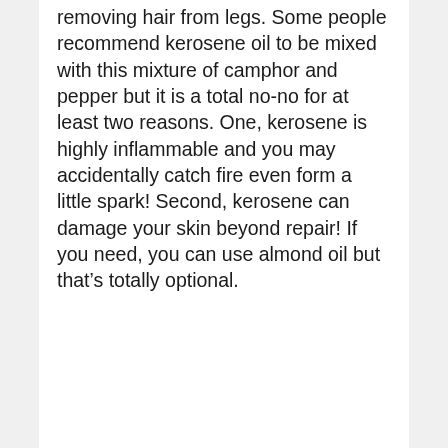removing hair from legs. Some people recommend kerosene oil to be mixed with this mixture of camphor and pepper but it is a total no-no for at least two reasons. One, kerosene is highly inflammable and you may accidentally catch fire even form a little spark! Second, kerosene can damage your skin beyond repair! If you need, you can use almond oil but that’s totally optional.